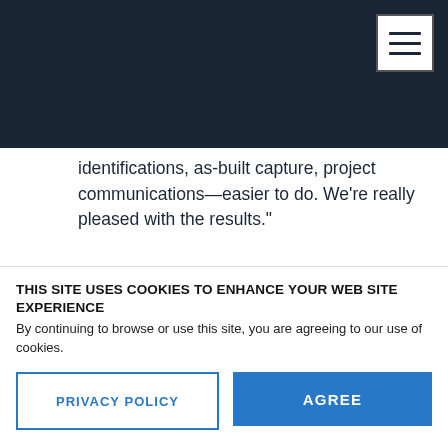vGIS logo and navigation header
nts in maps and locator tools," says Bundra. ration of the holographic technology makes g—correct field orientations, line identifications, as-built capture, project communications—easier to do. We're really pleased with the results."
About Toms River Municipal Utilities Authority (TRMUA) The Toms River MUA was established in
THIS SITE USES COOKIES TO ENHANCE YOUR WEB SITE EXPERIENCE
By continuing to browse or use this site, you are agreeing to our use of cookies.
PRIVACY POLICY
AGREE